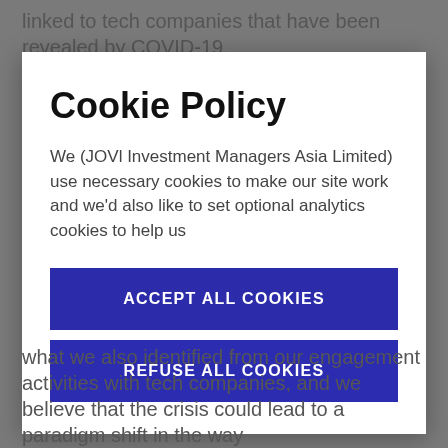linked to tech companies that have been revealed by COVID-19.
Cookie Policy
We (JOVl Investment Managers Asia Limited) use necessary cookies to make our site work and we'd also like to set optional analytics cookies to help us
ACCEPT ALL COOKIES
REFUSE ALL COOKIES
what we also identified from our engagement activities with tech companies, and we believe that the crisis could lead to a paradigm shift in the way